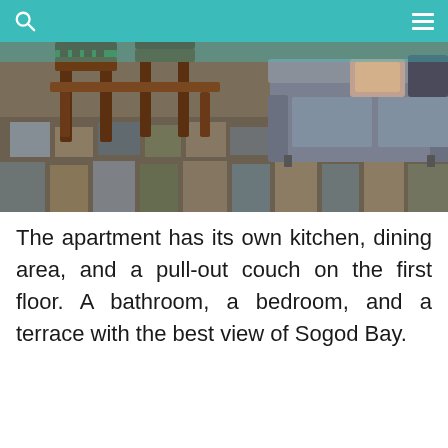[Figure (photo): Interior photo of apartment showing wooden dining chairs and table on patterned tile/rug floor on the left, and a grey sofa with a decorative pillow on the right.]
The apartment has its own kitchen, dining area, and a pull-out couch on the first floor. A bathroom, a bedroom, and a terrace with the best view of Sogod Bay.